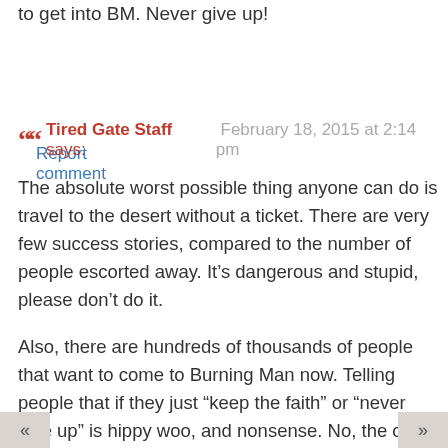to get into BM. Never give up!
Report comment
Tired Gate Staff says: February 18, 2015 at 2:14 pm
The absolute worst possible thing anyone can do is travel to the desert without a ticket. There are very few success stories, compared to the number of people escorted away. It’s dangerous and stupid, please don’t do it.
Also, there are hundreds of thousands of people that want to come to Burning Man now. Telling people that if they just “keep the faith” or “never give up” is hippy woo, and nonsense. No, the odds are not in your favor, no there is not always going to be a ticket available, and the chances of getting one are slimmer every year. If you are not